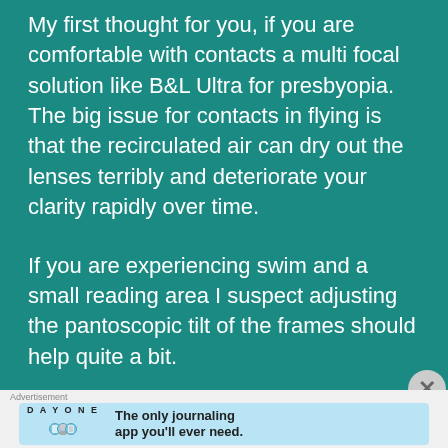My first thought for you, if you are comfortable with contacts a multi focal solution like B&L Ultra for presbyopia. The big issue for contacts in flying is that the recirculated air can dry out the lenses terribly and deteriorate your clarity rapidly over time.
If you are experiencing swim and a small reading area I suspect adjusting the pantoscopic tilt of the frames should help quite a bit.
What type of flying do you do?
[Figure (infographic): Advertisement banner for Day One journaling app with icons of a notebook, person, and document, and tagline 'The only journaling app you'll ever need.' on a light blue background.]